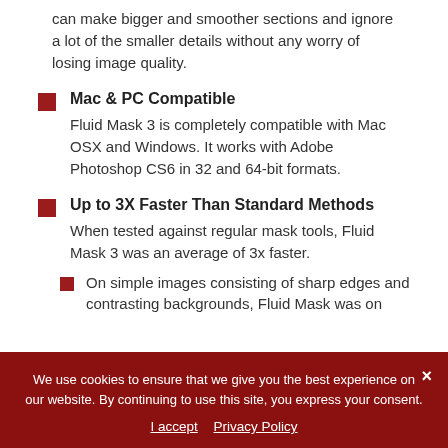can make bigger and smoother sections and ignore a lot of the smaller details without any worry of losing image quality.
Mac & PC Compatible
Fluid Mask 3 is completely compatible with Mac OSX and Windows. It works with Adobe Photoshop CS6 in 32 and 64-bit formats.
Up to 3X Faster Than Standard Methods
When tested against regular mask tools, Fluid Mask 3 was an average of 3x faster.
On simple images consisting of sharp edges and contrasting backgrounds, Fluid Mask was on
We use cookies to ensure that we give you the best experience on our website. By continuing to use this site, you express your consent.
I accept   Privacy Policy